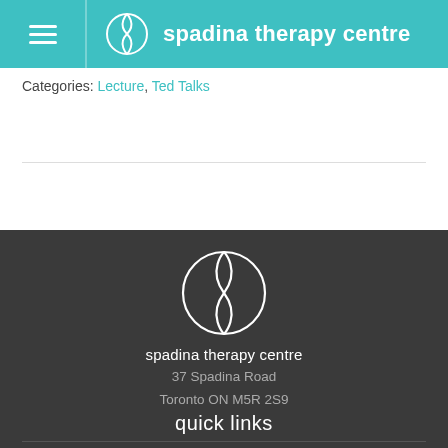spadina therapy centre
Categories: Lecture, Ted Talks
[Figure (logo): Spadina Therapy Centre logo — circular yin-yang style icon in white on teal header, and again larger in white outline on dark footer]
spadina therapy centre
37 Spadina Road
Toronto ON M5R 2S9
quick links
Homepage
About Us
Resources